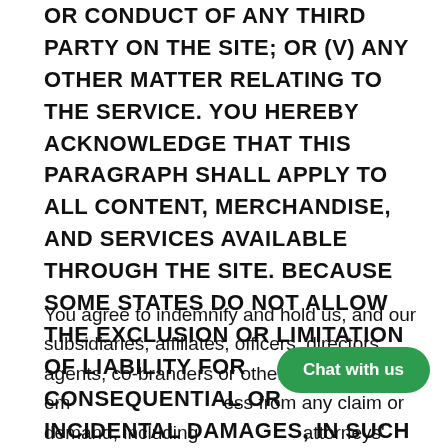OR CONDUCT OF ANY THIRD PARTY ON THE SITE; OR (v) ANY OTHER MATTER RELATING TO THE SERVICE. YOU HEREBY ACKNOWLEDGE THAT THIS PARAGRAPH SHALL APPLY TO ALL CONTENT, MERCHANDISE, AND SERVICES AVAILABLE THROUGH THE SITE. BECAUSE SOME STATES DO NOT ALLOW THE EXCLUSION OR LIMITATION OF LIABILITY FOR CONSEQUENTIAL OR INCIDENTAL DAMAGES, IN SUCH STATES LIABILITY IS LIMITED TO THE FULLEST EXTENT PERMITTED BY LAW.
You agree to indemnify and hold us, and our subsidiaries, affiliates, officers, directors, agents, co-branders or other partners, and em[ployees] harmless from any claim or demand, including attorneys' fees, made by any third party due to or